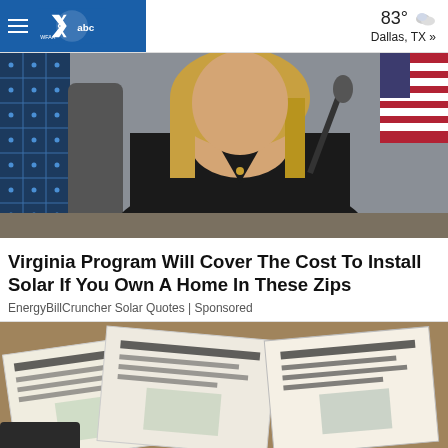WFAA abc | 83° Dallas, TX »
[Figure (photo): Woman with blonde hair wearing a black top seated at a table with a microphone, with a solar panel visible in the background and an American flag.]
Virginia Program Will Cover The Cost To Install Solar If You Own A Home In These Zips
EnergyBillCruncher Solar Quotes | Sponsored
[Figure (photo): Multiple overlapping sheets of paper with text and images, resembling checks or financial documents, spread on a surface.]